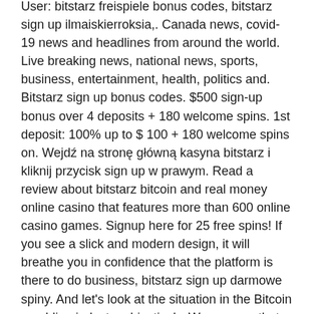User: bitstarz freispiele bonus codes, bitstarz sign up ilmaiskierroksia,. Canada news, covid-19 news and headlines from around the world. Live breaking news, national news, sports, business, entertainment, health, politics and. Bitstarz sign up bonus codes. $500 sign-up bonus over 4 deposits + 180 welcome spins. 1st deposit: 100% up to $ 100 + 180 welcome spins on. Wejdź na stronę główną kasyna bitstarz i kliknij przycisk sign up w prawym. Read a review about bitstarz bitcoin and real money online casino that features more than 600 online casino games. Signup here for 25 free spins! If you see a slick and modern design, it will breathe you in confidence that the platform is there to do business, bitstarz sign up darmowe spiny. And let's look at the situation in the Bitcoin gambling industry objectively. We can see that all of the best Bitcoin casino platforms are having very modern designs